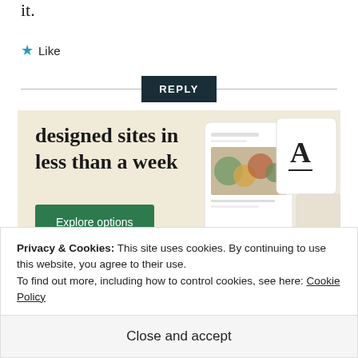it.
★ Like
REPLY
[Figure (screenshot): Advertisement for website builder showing 'designed sites in less than a week' with an 'Explore options' button and mockup of website designs on a beige background]
Privacy & Cookies: This site uses cookies. By continuing to use this website, you agree to their use.
To find out more, including how to control cookies, see here: Cookie Policy
Close and accept